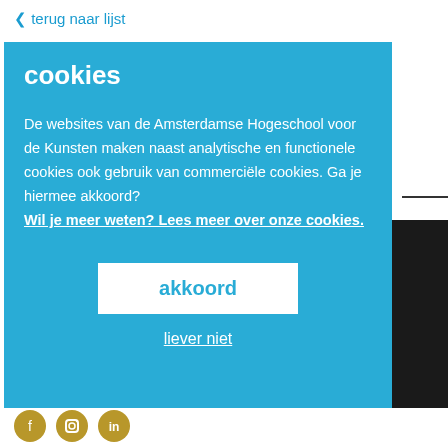‹ terug naar lijst
cookies
De websites van de Amsterdamse Hogeschool voor de Kunsten maken naast analytische en functionele cookies ook gebruik van commerciële cookies. Ga je hiermee akkoord? Wil je meer weten? Lees meer over onze cookies.
akkoord
liever niet